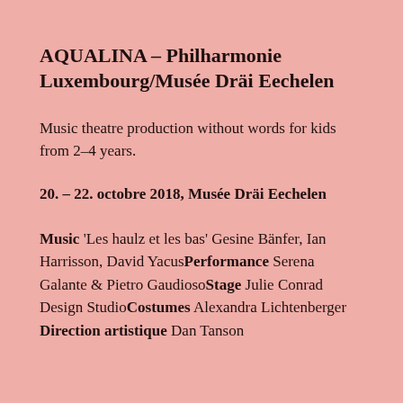AQUALINA – Philharmonie Luxembourg/Musée Dräi Eechelen
Music theatre production without words for kids from 2–4 years.
20. – 22. octobre 2018, Musée Dräi Eechelen
Music 'Les haulz et les bas' Gesine Bänfer, Ian Harrisson, David Yacus Performance Serena Galante & Pietro Gaudioso Stage Julie Conrad Design Studio Costumes Alexandra Lichtenberger Direction artistique Dan Tanson